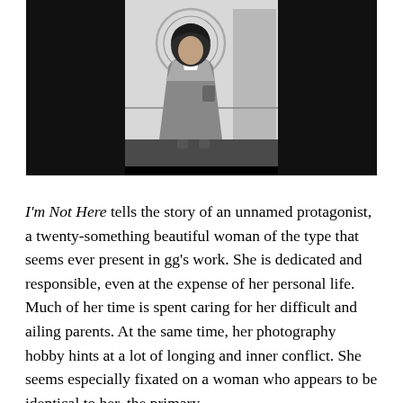[Figure (illustration): Grayscale illustration on a black background showing a figure seen from behind, standing at what appears to be a window or mirror. The figure has dark hair and is wearing a gray dress. There is a circular halo or ring above/around the head. The scene is rendered in muted grays and blacks.]
I'm Not Here tells the story of an unnamed protagonist, a twenty-something beautiful woman of the type that seems ever present in gg's work. She is dedicated and responsible, even at the expense of her personal life. Much of her time is spent caring for her difficult and ailing parents. At the same time, her photography hobby hints at a lot of longing and inner conflict. She seems especially fixated on a woman who appears to be identical to her, the primary